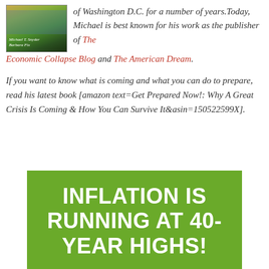[Figure (photo): Book cover image with landscape background showing storm clouds and a field; authors Michael T. Snyder and Barbara Fix listed at bottom]
of Washington D.C. for a number of years.Today, Michael is best known for his work as the publisher of The Economic Collapse Blog and The American Dream.
If you want to know what is coming and what you can do to prepare, read his latest book [amazon text=Get Prepared Now!: Why A Great Crisis Is Coming & How You Can Survive It&asin=150522599X].
[Figure (infographic): Green banner with bold white text reading: INFLATION IS RUNNING AT 40-YEAR HIGHS!]